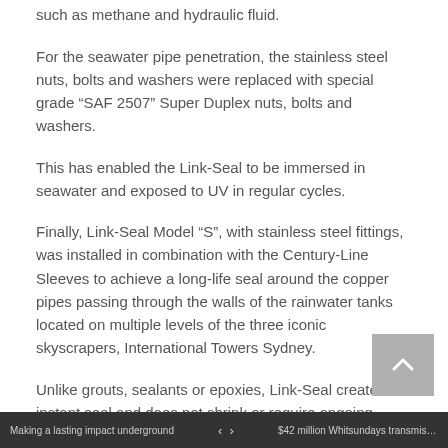such as methane and hydraulic fluid.
For the seawater pipe penetration, the stainless steel nuts, bolts and washers were replaced with special grade “SAF 2507” Super Duplex nuts, bolts and washers.
This has enabled the Link-Seal to be immersed in seawater and exposed to UV in regular cycles.
Finally, Link-Seal Model “S”, with stainless steel fittings, was installed in combination with the Century-Line Sleeves to achieve a long-life seal around the copper pipes passing through the walls of the rainwater tanks located on multiple levels of the three iconic skyscrapers, International Towers Sydney.
Unlike grouts, sealants or epoxies, Link-Seal creates an instant seal and does not shrink or require ongoing maintenance. Available in different compounds and sizes, it
Making a lasting impact underground   ‹  ›   $42 million Whitsundays transmission li...